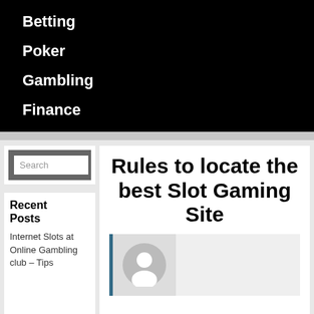Betting
Poker
Gambling
Finance
Betting
Poker
Gambling
Finance
[Figure (other): Search box widget with gray background and white input field showing placeholder text 'Search']
Recent Posts
Internet Slots at Online Gambling club – Tips
Rules to locate the best Slot Gaming Site
[Figure (photo): Author avatar placeholder — gray circle with white person silhouette icon on light gray background, with a teal left border bar]